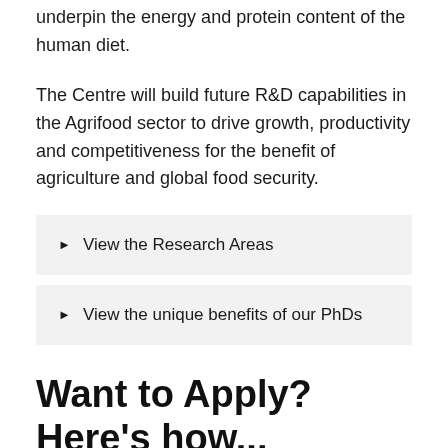underpin the energy and protein content of the human diet.
The Centre will build future R&D capabilities in the Agrifood sector to drive growth, productivity and competitiveness for the benefit of agriculture and global food security.
View the Research Areas
View the unique benefits of our PhDs
Want to Apply? Here's how...